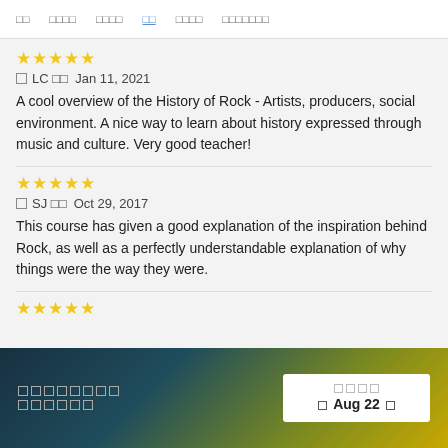□□  □□□□  □□□□  □□  □□□□  □□□□□□□
★★★★★
□ LC □□  Jan 11, 2021
A cool overview of the History of Rock - Artists, producers, social environment. A nice way to learn about history expressed through music and culture. Very good teacher!
★★★★★
□ SJ □□  Oct 29, 2017
This course has given a good explanation of the inspiration behind Rock, as well as a perfectly understandable explanation of why things were the way they were.
★★★★★
□□□□□□□□ □□□□□□  □□□□  □ Aug 22 □□